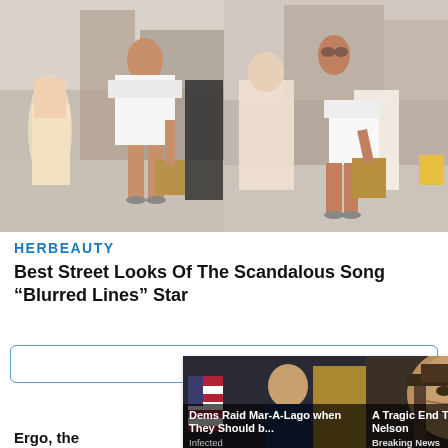[Figure (photo): Two side-by-side street photos of a young woman in a white off-shoulder romper carrying a brown bag, walking on a city street with people in the background.]
HERBEAUTY
Best Street Looks Of The Scandalous Song “Blurred Lines” Star
[Figure (infographic): Ad overlay with two sponsored news thumbnails: 'Dems Raid Mar-A-Lago when They Should b...' (Infected) and 'A Tragic End Today For Willie Nelson' (Breaking News), with an X close button.]
Ergo, the … lment